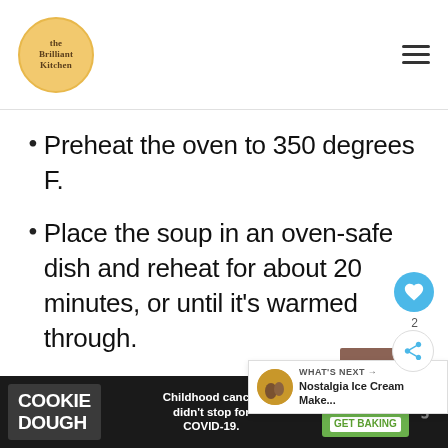Brilliant Kitchen
Preheat the oven to 350 degrees F.
Place the soup in an oven-safe dish and reheat for about 20 minutes, or until it's warmed through.
Remember to cover the dish with foil or a lid so that the soup remains moist.
[Figure (screenshot): Website footer advertisement: Cookie Dough brand ad with text 'Childhood cancer didn't stop for COVID-19.' and cookies for kids cancer GET BAKING button]